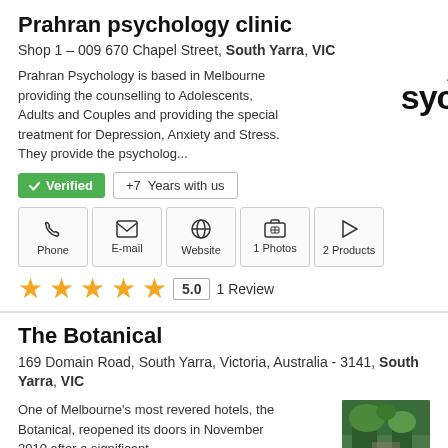Prahran psychology clinic
Shop 1 – 009 670 Chapel Street, South Yarra, VIC
Prahran Psychology is based in Melbourne providing the counselling to Adolescents, Adults and Couples and providing the special treatment for Depression, Anxiety and Stress. They provide the psycholog...
[Figure (logo): Prahran Psychology clinic logo showing 'AHRAN' in small text above 'sycho' in large bold text]
✓ Verified   +7 Years with us
Phone   E-mail   Website   1 Photos   2 Products
★★★★★  5.0  1 Review
The Botanical
169 Domain Road, South Yarra, Victoria, Australia - 3141, South Yarra, VIC
One of Melbourne's most revered hotels, the Botanical, reopened its doors in November 2010 after a significant
[Figure (photo): Outdoor photo of The Botanical hotel with greenery]